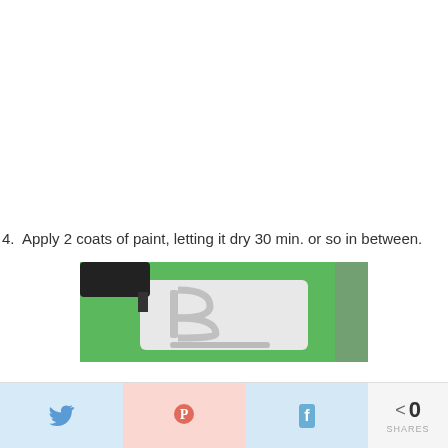4.  Apply 2 coats of paint, letting it dry 30 min. or so in between.
[Figure (photo): A foam brush applying white/silver paint over a green surface with a letter B cookie cutter or mold.]
Twitter share button | Pinterest share button | Facebook share button | < 0 SHARES